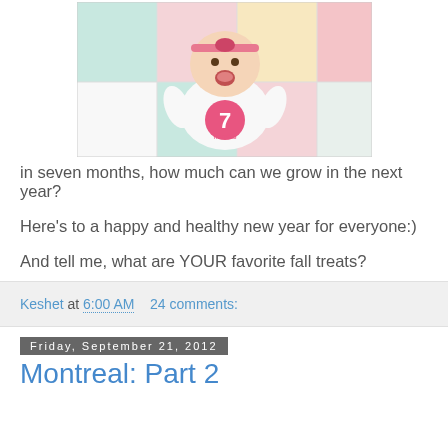[Figure (photo): Baby wearing a white onesie with a pink '7 months' graphic, lying on a colorful quilt, mouth open smiling, pink headband]
in seven months, how much can we grow in the next year?
Here's to a happy and healthy new year for everyone:)
And tell me, what are YOUR favorite fall treats?
Keshet at 6:00 AM    24 comments:
Friday, September 21, 2012
Montreal: Part 2